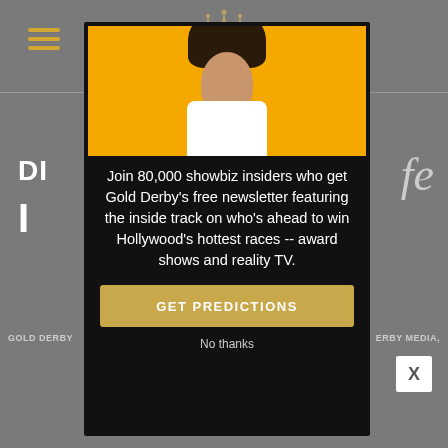[Figure (screenshot): Website background showing Gold Derby website with gray background, hamburger menu icon in gold, decorative crown/star ornament, partial page text, and a bottom bar with site attribution text.]
[Figure (photo): Popup modal with black background. Contains a photo of a surprised young woman with dark hair looking at a smartphone against a yellow background. Below the photo is white text reading 'Join 80,000 showbiz insiders who get Gold Derby's free newsletter featuring the inside track on who's ahead to win Hollywood's hottest races -- award shows and reality TV.' A gold button reads 'GET PREDICTIONS'. Below the button is a 'No thanks' link in gray text.]
Join 80,000 showbiz insiders who get Gold Derby's free newsletter featuring the inside track on who's ahead to win Hollywood's hottest races -- award shows and reality TV.
GET PREDICTIONS
No thanks